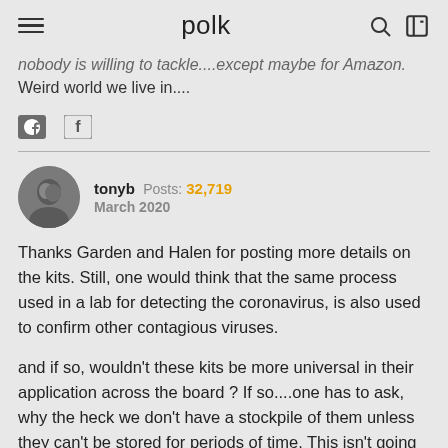polk
nobody is willing to tackle....except maybe for Amazon. Weird world we live in....
tonyb Posts: 32,719 March 2020
Thanks Garden and Halen for posting more details on the kits. Still, one would think that the same process used in a lab for detecting the coronavirus, is also used to confirm other contagious viruses.
and if so, wouldn't these kits be more universal in their application across the board ? If so....one has to ask, why the heck we don't have a stockpile of them unless they can't be stored for periods of time. This isn't going to be